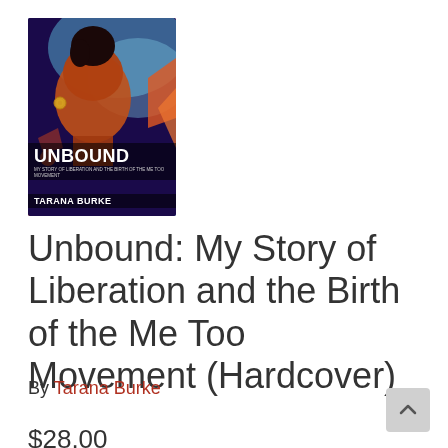[Figure (illustration): Book cover of 'Unbound' by Tarana Burke, featuring a colorful illustrated portrait of a Black woman with an updo hairstyle, wearing large hoop earrings, against a vibrant abstract background. The title 'UNBOUND' and author name 'TARANA BURKE' appear at the bottom of the cover.]
Unbound: My Story of Liberation and the Birth of the Me Too Movement (Hardcover)
By Tarana Burke
$28.00